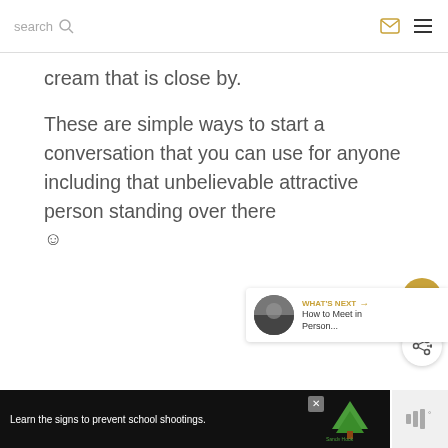search
cream that is close by.
These are simple ways to start a conversation that you can use for anyone including that unbelievable attractive person standing over there 🙂
[Figure (infographic): What's Next promo panel with thumbnail and text: How to Meet in Person...]
[Figure (infographic): Advertisement banner: Learn the signs to prevent school shootings. Sandy Hook Promise logo.]